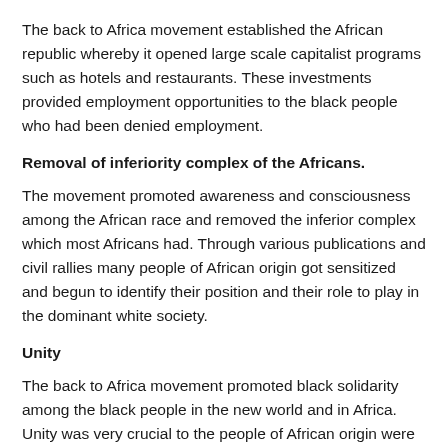The back to Africa movement established the African republic whereby it opened large scale capitalist programs such as hotels and restaurants. These investments provided employment opportunities to the black people who had been denied employment.
Removal of inferiority complex of the Africans.
The movement promoted awareness and consciousness among the African race and removed the inferior complex which most Africans had. Through various publications and civil rallies many people of African origin got sensitized and begun to identify their position and their role to play in the dominant white society.
Unity
The back to Africa movement promoted black solidarity among the black people in the new world and in Africa. Unity was very crucial to the people of African origin were to gain their fundamental right.